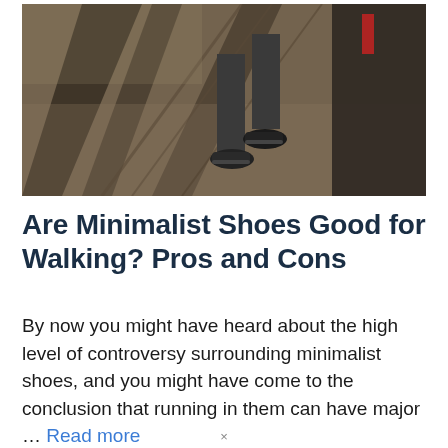[Figure (photo): Outdoor photo showing a person's legs and feet wearing minimalist/casual shoes, walking on a pavement with railway tracks or lines visible, strong shadows on the ground.]
Are Minimalist Shoes Good for Walking? Pros and Cons
By now you might have heard about the high level of controversy surrounding minimalist shoes, and you might have come to the conclusion that running in them can have major … Read more
×